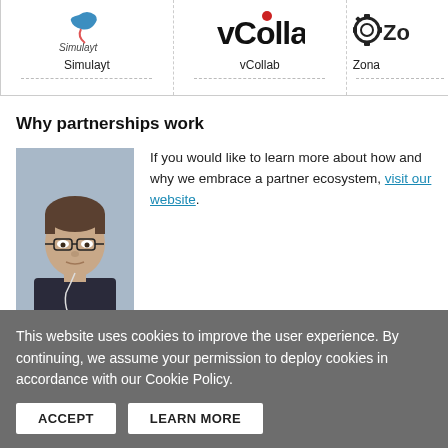[Figure (logo): Simulayt logo - blue stylized bird/swoosh with 'Simulayt' text below]
[Figure (logo): vCollab logo - bold black VCollab text with red dot above]
[Figure (logo): Zona logo - gear/circle icon with 'Zo' text visible (partially cropped)]
Why partnerships work
[Figure (photo): Portrait photo of a man with glasses and short hair wearing a dark jacket]
If you would like to learn more about how and why we embrace a partner ecosystem, visit our website.
New Partner Highlight
This website uses cookies to improve the user experience. By continuing, we assume your permission to deploy cookies in accordance with our Cookie Policy.